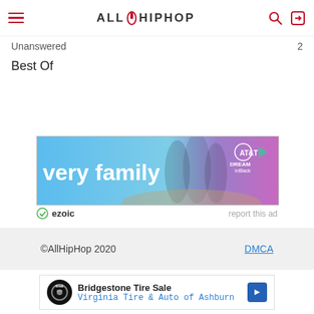AllHipHop
Unanswered
2
Best Of
[Figure (illustration): AT&T DREAMinBlack advertisement banner showing three women with text 'very family' on a blue/purple gradient background]
ezoic   report this ad
©AllHipHop 2020   DMCA
[Figure (illustration): Bridgestone Tire Sale advertisement with Virginia Tire & Auto of Ashburn branding, tire logo, and directional arrow icon]